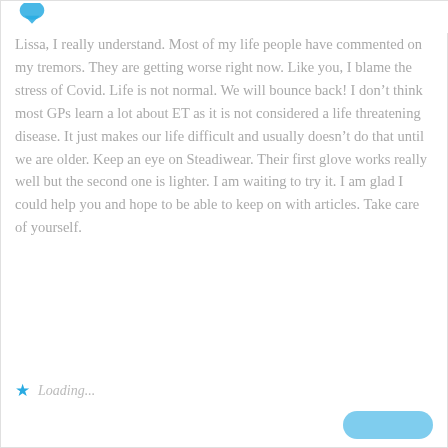[Figure (illustration): Partial avatar/icon at top left corner of the comment card]
Lissa, I really understand. Most of my life people have commented on my tremors. They are getting worse right now. Like you, I blame the stress of Covid. Life is not normal. We will bounce back! I don't think most GPs learn a lot about ET as it is not considered a life threatening disease. It just makes our life difficult and usually doesn't do that until we are older. Keep an eye on Steadiwear. Their first glove works really well but the second one is lighter. I am waiting to try it. I am glad I could help you and hope to be able to keep on with articles. Take care of yourself.
Loading...